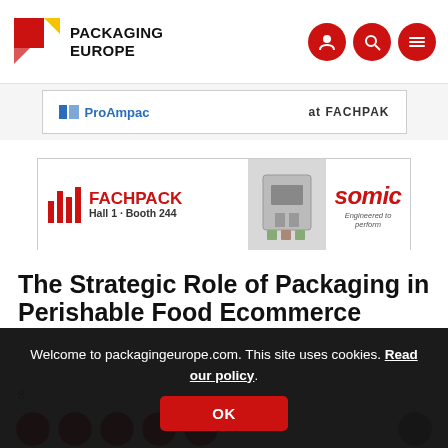Packaging Europe
[Figure (screenshot): ProAmpac ad banner with text 'at FACHPAK']
[Figure (screenshot): FACHPACK ad banner showing Hall 1 Booth 244, somic Engineered to perform logo and packaging machine image]
The Strategic Role of Packaging in Perishable Food Ecommerce
8 ...
Welcome to packagingeurope.com. This site uses cookies. Read our policy.
OK